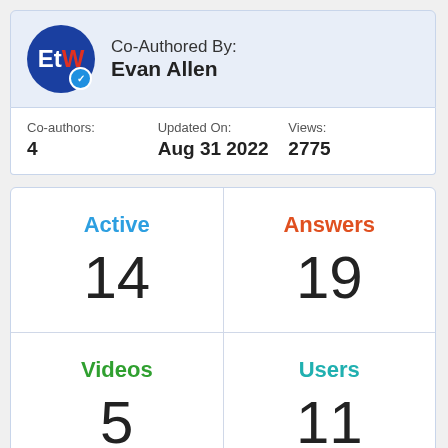[Figure (logo): EtW logo circle with blue background, red W, and a blue verification badge]
Co-Authored By:
Evan Allen
| Co-authors: | Updated On: | Views: |
| --- | --- | --- |
| 4 | Aug 31 2022 | 2775 |
| Active | Answers | Videos | Users |
| --- | --- | --- | --- |
| 14 | 19 | 5 | 11 |